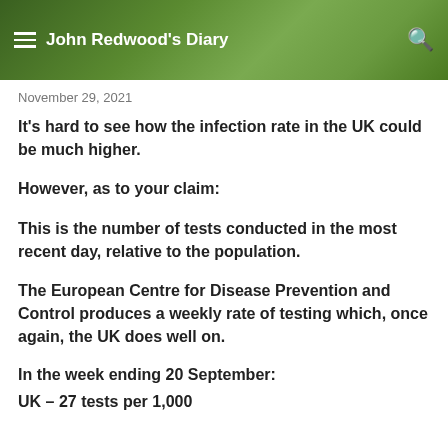John Redwood's Diary
November 29, 2021
It's hard to see how the infection rate in the UK could be much higher.
However, as to your claim:
This is the number of tests conducted in the most recent day, relative to the population.
The European Centre for Disease Prevention and Control produces a weekly rate of testing which, once again, the UK does well on.
In the week ending 20 September:
UK – 27 tests per 1,000